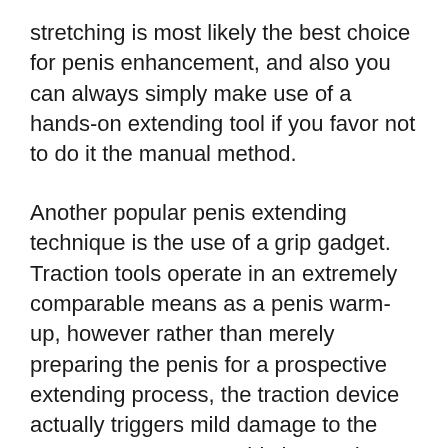stretching is most likely the best choice for penis enhancement, and also you can always simply make use of a hands-on extending tool if you favor not to do it the manual method.
Another popular penis extending technique is the use of a grip gadget. Traction tools operate in an extremely comparable means as a penis warm-up, however rather than merely preparing the penis for a prospective extending process, the traction device actually triggers mild damage to the corpus cavernosum. This harms the cells in the corpus cavernosum, to ensure that they can not grow back. The corpus cavernosum is the part of the penis that contains the chambers where the ligaments attach. In time, the grip